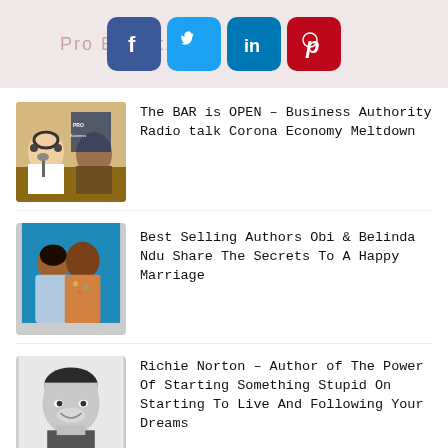[Figure (infographic): Social media share bar with Facebook, Twitter, LinkedIn, and Pinterest icons on a pink/beige background]
[Figure (photo): Photo of two men in a radio studio, one wearing headphones at a microphone]
The BAR is OPEN – Business Authority Radio talk Corona Economy Meltdown
[Figure (photo): Photo of a couple, woman in light blue dress and man in floral shirt, against a blue background]
Best Selling Authors Obi & Belinda Ndu Share The Secrets To A Happy Marriage
[Figure (photo): Black and white photo of a smiling man]
Richie Norton – Author of The Power Of Starting Something Stupid On Starting To Live And Following Your Dreams